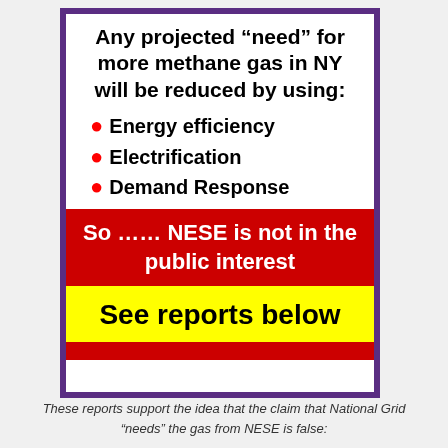Any projected “need” for more methane gas in NY will be reduced by using:
Energy efficiency
Electrification
Demand Response
So …… NESE is not in the public interest
See reports below
These reports support the idea that the claim that National Grid “needs” the gas from NESE is false: